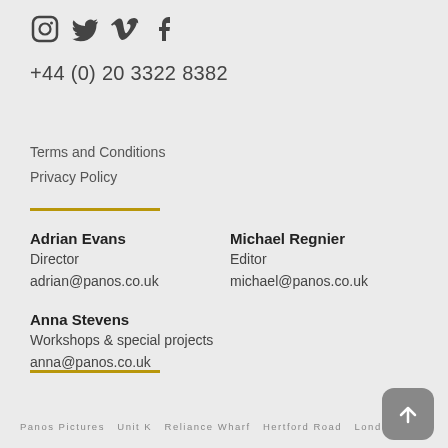[Figure (other): Social media icons: Instagram, Twitter, Vimeo, Facebook]
+44 (0) 20 3322 8382
Terms and Conditions
Privacy Policy
Adrian Evans
Director
adrian@panos.co.uk
Michael Regnier
Editor
michael@panos.co.uk
Anna Stevens
Workshops & special projects
anna@panos.co.uk
Panos Pictures  Unit K  Reliance Wharf Hertford Road London